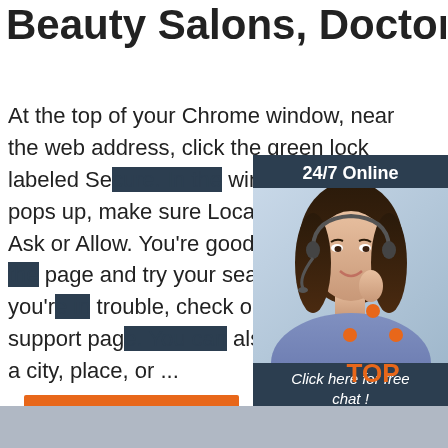Beauty Salons, Doctors - Yelp
At the top of your Chrome window, near the web address, click the green lock labeled Se... In the window that pops up, make sure Location is set to Ask or Allow. You're good to go! Reload the page and try your search again. If you're in trouble, check out Google's support page. You can also search near a city, place, or ...
[Figure (infographic): Ad widget with '24/7 Online' header, photo of woman with headset, 'Click here for free chat!' text, and orange QUOTATION button]
Get Price
[Figure (infographic): Orange dot triangle above 'TOP' text in orange, forming a back-to-top button graphic]